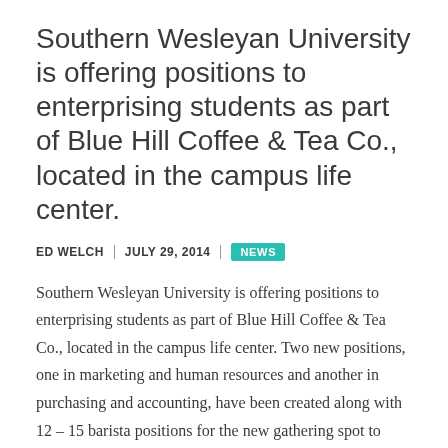Southern Wesleyan University is offering positions to enterprising students as part of Blue Hill Coffee & Tea Co., located in the campus life center.
ED WELCH | JULY 29, 2014 | NEWS
Southern Wesleyan University is offering positions to enterprising students as part of Blue Hill Coffee & Tea Co., located in the campus life center. Two new positions, one in marketing and human resources and another in purchasing and accounting, have been created along with 12 – 15 barista positions for the new gathering spot to open this fall.